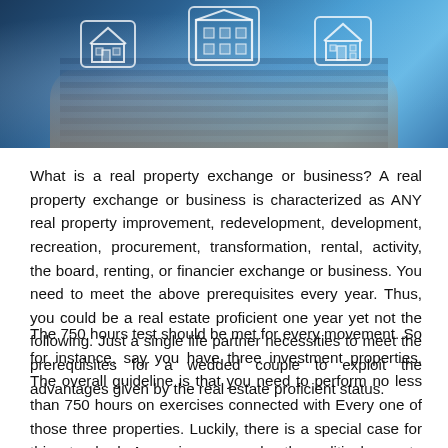[Figure (photo): Photo of hands typing on a keyboard with overlaid real estate / property icons (house outlines in hexagonal frames), blue-toned technology background]
What is a real property exchange or business? A real property exchange or business is characterized as ANY real property improvement, redevelopment, development, recreation, procurement, transformation, rental, activity, the board, renting, or financier exchange or business. You need to meet the above prerequisites every year. Thus, you could be a real estate proficient one year yet not the following. Just a single life partner necessities to meet the prerequisites for a wedded couple to exploit the advantages given by the real estate proficient status.
The 750 hours test should be met for every movement. So for instance, say you have three investment properties. The overall guideline is that you need to perform no less than 750 hours on exercises connected with Every one of those three properties. Luckily, there is a special case for this standard. Assuming you make the political race to total